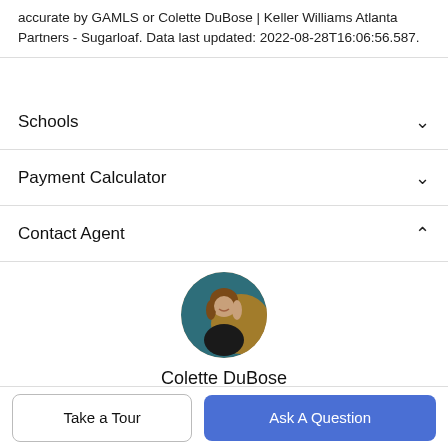accurate by GAMLS or Colette DuBose | Keller Williams Atlanta Partners - Sugarloaf. Data last updated: 2022-08-28T16:06:56.587.
Schools
Payment Calculator
Contact Agent
[Figure (photo): Circular profile photo of real estate agent Colette DuBose]
Colette DuBose
Associate
Cell: (770) 837.1969